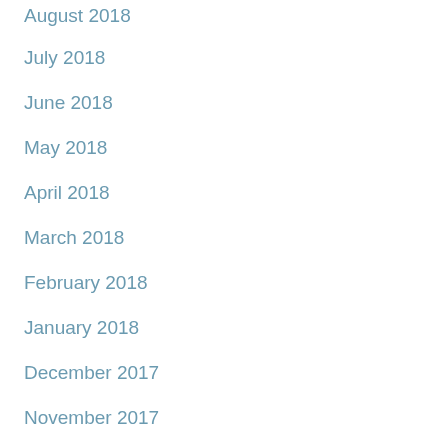August 2018
July 2018
June 2018
May 2018
April 2018
March 2018
February 2018
January 2018
December 2017
November 2017
October 2017
September 2017
August 2017
July 2017